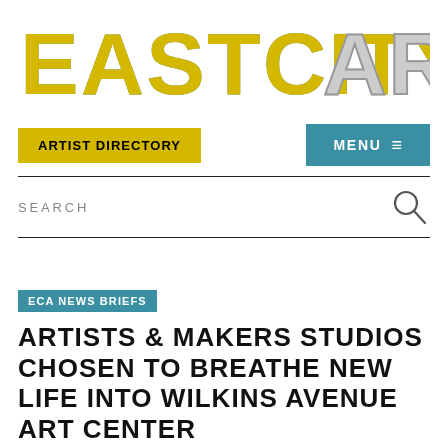[Figure (logo): EASTCITYART logo in stylized block letters, yellow/teal on white background]
ARTIST DIRECTORY | MENU
SEARCH
ECA NEWS BRIEFS
ARTISTS & MAKERS STUDIOS CHOSEN TO BREATHE NEW LIFE INTO WILKINS AVENUE ART CENTER
By Editorial Team on October 27, 2016